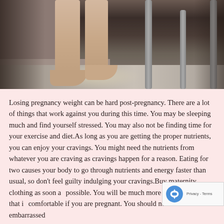[Figure (photo): A close-up photo of bare feet and legs standing on a marble/granite floor near a wall, with metal chair legs visible in the background. Dark ambient lighting with a spotlight effect on the floor.]
Losing pregnancy weight can be hard post-pregnancy. There are a lot of things that work against you during this time. You may be sleeping much and find yourself stressed. You may also not be finding time for your exercise and diet.As long as you are getting the proper nutrients, you can enjoy your cravings. You might need the nutrients from whatever you are craving as cravings happen for a reason. Eating for two causes your body to go through nutrients and energy faster than usual, so don't feel guilty indulging your cravings.Buy maternity clothing as soon as possible. You will be much more wearable clothing that is comfortable if you are pregnant. You should never be embarrassed